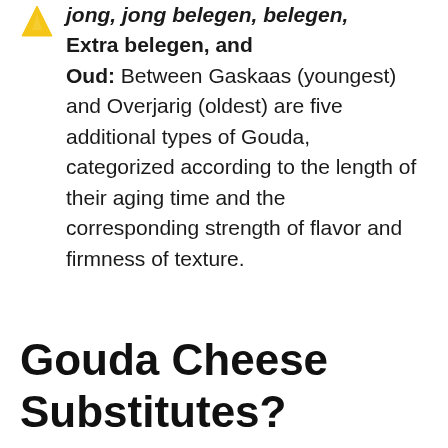jong, jong belegen, belegen, Extra belegen, and Oud: Between Gaskaas (youngest) and Overjarig (oldest) are five additional types of Gouda, categorized according to the length of their aging time and the corresponding strength of flavor and firmness of texture.
Gouda Cheese Substitutes?